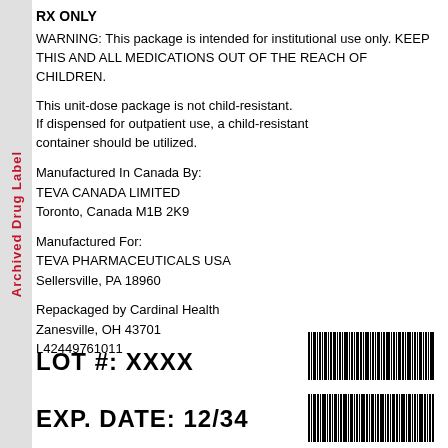Archived Drug Label
RX ONLY
WARNING: This package is intended for institutional use only. KEEP THIS AND ALL MEDICATIONS OUT OF THE REACH OF CHILDREN.
This unit-dose package is not child-resistant. If dispensed for outpatient use, a child-resistant container should be utilized.
Manufactured In Canada By:
TEVA CANADA LIMITED
Toronto, Canada M1B 2K9
Manufactured For:
TEVA PHARMACEUTICALS USA
Sellersville, PA 18960
Repackaged by Cardinal Health
Zanesville, OH 43701
L42449761011
LOT #:  XXXX
EXP. DATE:  12/34
[Figure (other): Two barcodes stacked vertically on the right side of the label]
[Figure (other): Second barcode below the first]